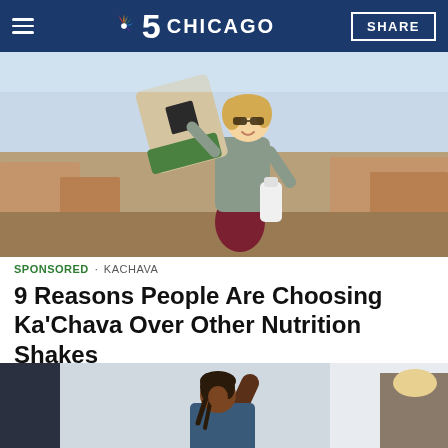NBC 5 CHICAGO | SHARE
[Figure (photo): Woman smiling outdoors crouching on rocky terrain, holding up a Ka'Chava branded bag and a white shaker bottle]
SPONSORED · KACHAVA
9 Reasons People Are Choosing Ka'Chava Over Other Nutrition Shakes
[Figure (photo): Woman with braided hair stretching arms overhead in a gym or fitness setting]